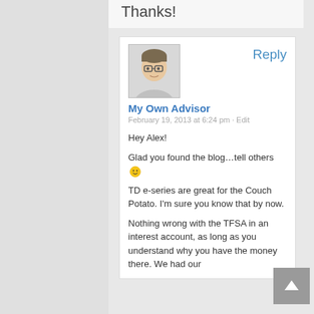Thanks!
[Figure (photo): Avatar photo of a man with glasses]
Reply
My Own Advisor
February 19, 2013 at 6:24 pm · Edit
Hey Alex!
Glad you found the blog…tell others 🙂
TD e-series are great for the Couch Potato. I'm sure you know that by now.
Nothing wrong with the TFSA in an interest account, as long as you understand why you have the money there. We had our